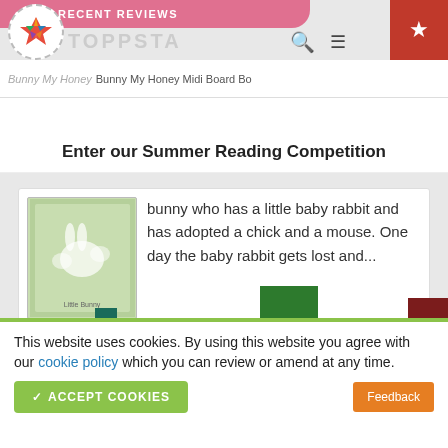RECENT REVIEWS — Toppsta — Bunny My Honey Midi Board Bo...
Enter our Summer Reading Competition
bunny who has a little baby rabbit and has adopted a chick and a mouse. One day the baby rabbit gets lost and...
[Figure (bar-chart): Partially visible bar chart with multiple colored bars (dark green, blue, light blue, green, orange, red, dark red, maroon, dark navy)]
This website uses cookies. By using this website you agree with our cookie policy which you can review or amend at any time.
✓ ACCEPT COOKIES
Feedback